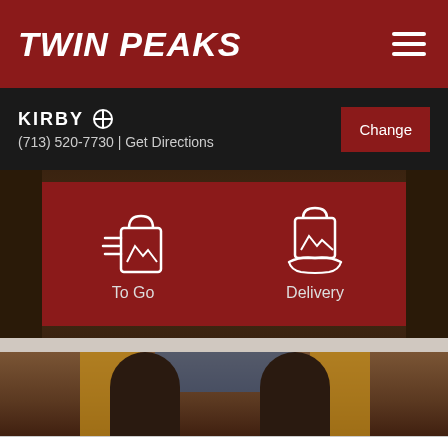Twin Peaks
KIRBY
(713) 520-7730 | Get Directions
[Figure (infographic): Two order option icons on red background: 'To Go' (shopping bag with lines) and 'Delivery' (shopping bag held by a hand), with rustic wood background visible on edges.]
[Figure (photo): Two women standing in front of a Twin Peaks restaurant entrance with log cabin-style architecture]
CALIFORNIA CONSUMER PRIVACY ACT NOTICE
Visit the Twin Peaks Privacy Policy for details regarding the